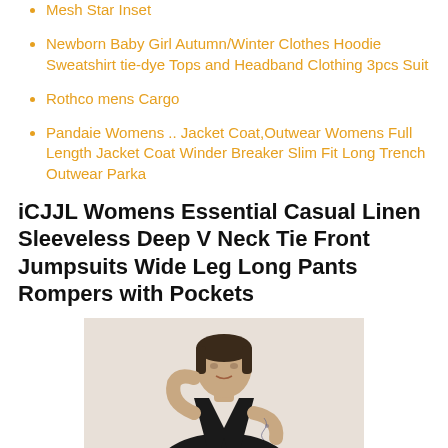Mesh Star Inset
Newborn Baby Girl Autumn/Winter Clothes Hoodie Sweatshirt tie-dye Tops and Headband Clothing 3pcs Suit
Rothco mens Cargo
Pandaie Womens .. Jacket Coat,Outwear Womens Full Length Jacket Coat Winder Breaker Slim Fit Long Trench Outwear Parka
iCJJL Womens Essential Casual Linen Sleeveless Deep V Neck Tie Front Jumpsuits Wide Leg Long Pants Rompers with Pockets
[Figure (photo): Woman wearing a black deep V-neck sleeveless jumpsuit, shown from shoulders up, with tattoos on arm.]